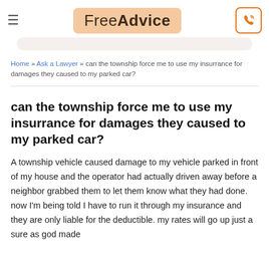Free Advice
Home » Ask a Lawyer » can the township force me to use my insurrance for damages they caused to my parked car?
can the township force me to use my insurrance for damages they caused to my parked car?
A township vehicle caused damage to my vehicle parked in front of my house and the operator had actually driven away before a neighbor grabbed them to let them know what they had done. now I'm being told I have to run it through my insurance and they are only liable for the deductible. my rates will go up just a sure as god made